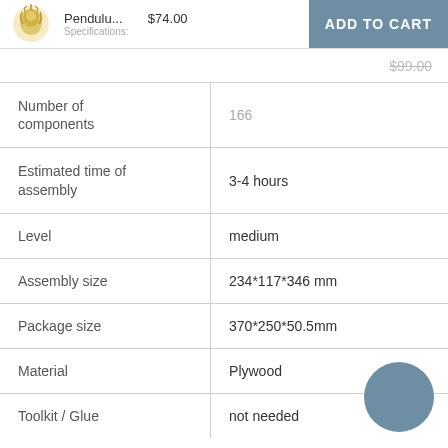Pendulu... $74.00 ADD TO CART Specifications:
$99.00
| Specification | Value |
| --- | --- |
| Number of components | 166 |
| Estimated time of assembly | 3-4 hours |
| Level | medium |
| Assembly size | 234*117*346 mm |
| Package size | 370*250*50.5mm |
| Material | Plywood |
| Toolkit / Glue | not needed |